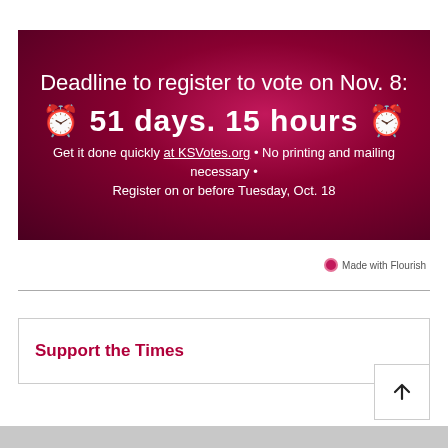[Figure (infographic): Dark magenta/crimson banner with voter registration countdown. Title: 'Deadline to register to vote on Nov. 8:' followed by large bold '⏰ 51 days. 15 hours ⏰'. Subtext: 'Get it done quickly at KSVotes.org • No printing and mailing necessary • Register on or before Tuesday, Oct. 18']
Made with Flourish
Support the Times